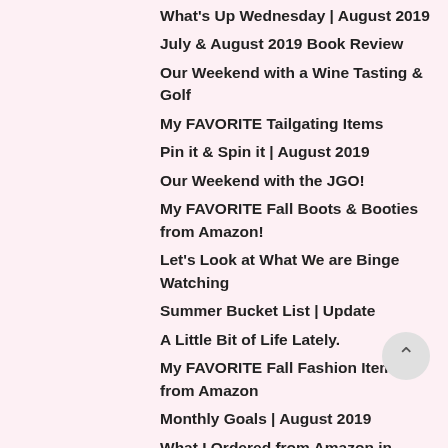What's Up Wednesday | August 2019
July & August 2019 Book Review
Our Weekend with a Wine Tasting & Golf
My FAVORITE Tailgating Items
Pin it & Spin it | August 2019
Our Weekend with the JGO!
My FAVORITE Fall Boots & Booties from Amazon!
Let's Look at What We are Binge Watching
Summer Bucket List | Update
A Little Bit of Life Lately.
My FAVORITE Fall Fashion Items from Amazon
Monthly Goals | August 2019
What I Ordered from Amazon in July!
Let's Taco 'bout going back to School.
► July (10)
► June (15)
► May (18)
► April (17)